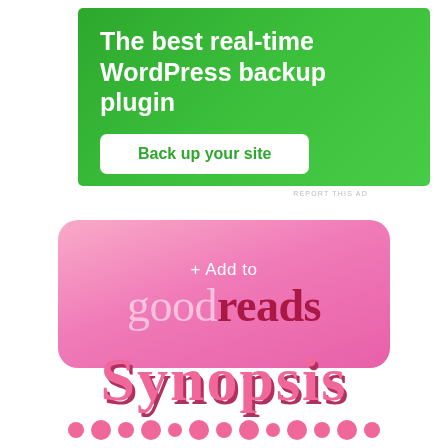[Figure (infographic): Green WordPress backup plugin advertisement banner with white bold text reading 'The best real-time WordPress backup plugin' and a white button with green text reading 'Back up your site']
REPORT THIS AD
[Figure (logo): Pink rounded rectangle button with '+ Add to' text at top and 'goodreads' logo in large text below, on pink-to-hot-pink gradient background]
Synopsis